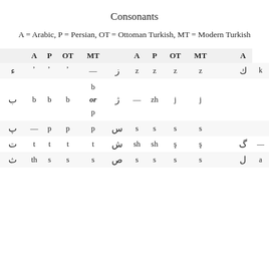Consonants
A = Arabic, P = Persian, OT = Ottoman Turkish, MT = Modern Turkish
|  | A | P | OT | MT |  | A | P | OT | MT | A |
| --- | --- | --- | --- | --- | --- | --- | --- | --- | --- | --- |
| ء | ' | ' | ' | — | ز | z | z | z | z | ك k |
| ب | b | b | b | b or p | ژ | — | zh | j | j |  |
| پ | — | p | p | p | س | s | s | s | s |  |
| ت | t | t | t | t | ش | sh | sh | ş | ş | گ — |
| ث | th | s | s | s | ص | s | s | s | s | ل a |